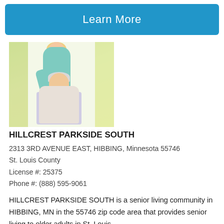[Figure (other): Blue button bar with white text 'Learn More']
[Figure (photo): A young blonde female caregiver in teal scrubs brushing the hair of an elderly seated woman with gray hair wearing a floral top, with a bright window and yellow-green curtains in the background.]
HILLCREST PARKSIDE SOUTH
2313 3RD AVENUE EAST, HIBBING, Minnesota 55746
St. Louis County
License #: 25375
Phone #: (888) 595-9061
HILLCREST PARKSIDE SOUTH is a senior living community in HIBBING, MN in the 55746 zip code area that provides senior living to older adults in St. Louis